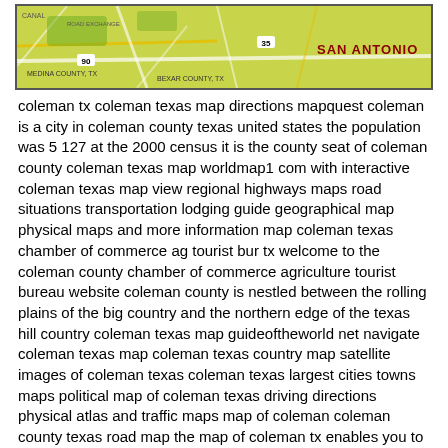[Figure (map): Partial road map image showing San Antonio area in Texas, with yellow-green background, roads, county labels, and text including 'SAN ANTONIO'.]
coleman tx coleman texas map directions mapquest coleman is a city in coleman county texas united states the population was 5 127 at the 2000 census it is the county seat of coleman county coleman texas map worldmap1 com with interactive coleman texas map view regional highways maps road situations transportation lodging guide geographical map physical maps and more information map coleman texas chamber of commerce ag tourist bur tx welcome to the coleman county chamber of commerce agriculture tourist bureau website coleman county is nestled between the rolling plains of the big country and the northern edge of the texas hill country coleman texas map guideoftheworld net navigate coleman texas map coleman texas country map satellite images of coleman texas coleman texas largest cities towns maps political map of coleman texas driving directions physical atlas and traffic maps map of coleman coleman county texas road map the map of coleman tx enables you to safely navigate to from and through coleman tx more the satellite view of coleman tx lets you see full topographic details around your actual location or virtually explore the streets of coleman tx from your home coleman texas tx 76834 profile population maps real according to our research of texas and other